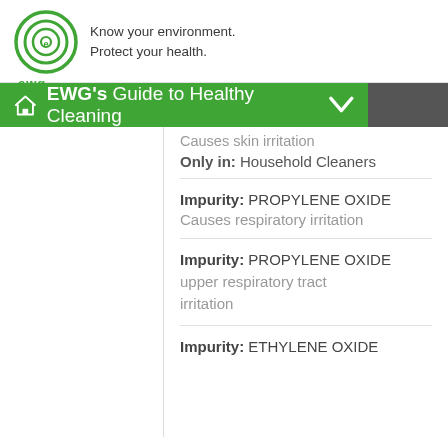[Figure (logo): EWG circular logo in green with concentric circles and 'ewg' text below]
Know your environment.
Protect your health.
EWG's Guide to Healthy Cleaning
Causes skin irritation
Only in: Household Cleaners
Impurity: PROPYLENE OXIDE
Causes respiratory irritation
Impurity: PROPYLENE OXIDE
upper respiratory tract irritation
Impurity: ETHYLENE OXIDE